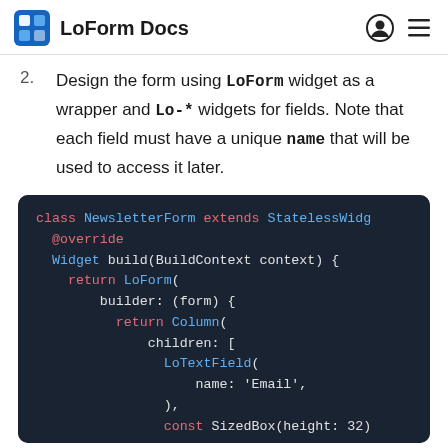LoForm Docs
2. Design the form using LoForm widget as a wrapper and Lo-* widgets for fields. Note that each field must have a unique name that will be used to access it later.
[Figure (screenshot): Dart/Flutter code snippet showing a class NewsletterForm extending StatelessWidget with a build method returning LoForm with a builder containing Column with children LoTextField name Email and const SizedBox height 32]